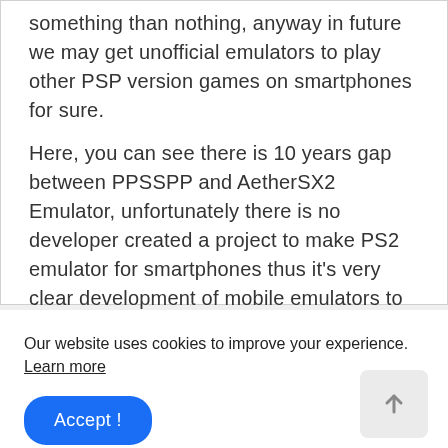something than nothing, anyway in future we may get unofficial emulators to play other PSP version games on smartphones for sure.
Here, you can see there is 10 years gap between PPSSPP and AetherSX2 Emulator, unfortunately there is no developer created a project to make PS2 emulator for smartphones thus it's very clear development of mobile emulators to play Sony PlayStation games is slow and rare.
Our website uses cookies to improve your experience. Learn more
Accept !